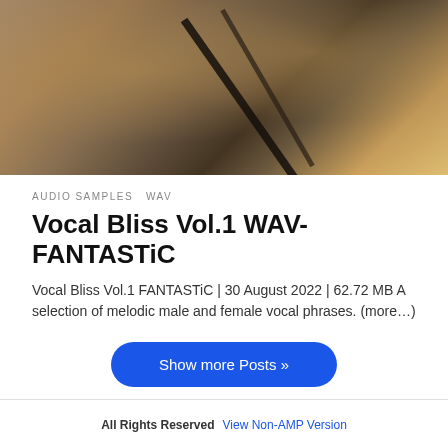[Figure (photo): Close-up blurred photo of hands holding a dark diagonal instrument or object, warm brown and tan tones]
AUDIO SAMPLES  WAV
Vocal Bliss Vol.1 WAV-FANTASTiC
Vocal Bliss Vol.1 FANTASTiC | 30 August 2022 | 62.72 MB A selection of melodic male and female vocal phrases. (more…)
Show more Posts »
All Rights Reserved  View Non-AMP Version